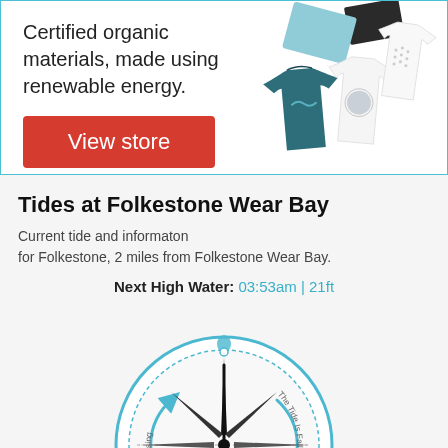[Figure (infographic): Advertisement banner showing t-shirts and organic clothing items with a 'View store' button. Text: Certified organic materials, made using renewable energy.]
Tides at Folkestone Wear Bay
Current tide and informaton for Folkestone, 2 miles from Folkestone Wear Bay.
Next High Water: 03:53am | 21ft
[Figure (other): Tide compass dial showing 'The Tide is Rising' on the left and 'The Tide is Falling' on the right, with a compass rose needle pointing upward (north) indicating next high water direction. Arrows indicate tidal flow direction around the dial.]